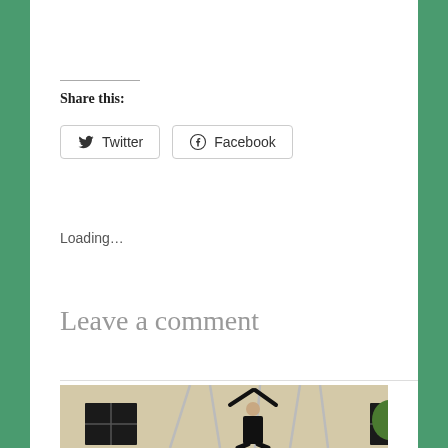Share this:
Twitter
Facebook
Loading...
Leave a comment
[Figure (photo): A person dressed in black performing aerial yoga or acrobatics, reaching upward with both arms while suspended from white ropes/silks in an indoor space with windows and a plant visible in the background.]